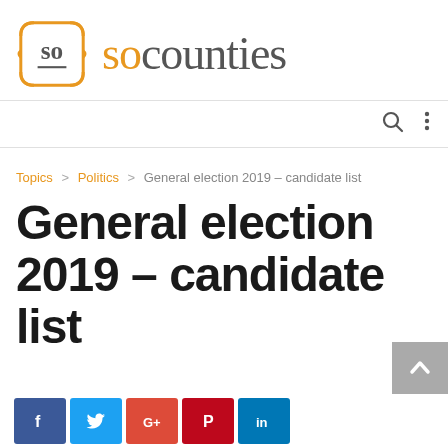[Figure (logo): SoCounties logo: orange ornate badge with 'so' text and 'socounties' wordmark in orange and grey]
Topics > Politics > General election 2019 – candidate list
General election 2019 – candidate list
[Figure (other): Social sharing buttons: Facebook, Twitter, Google+, Pinterest, LinkedIn]